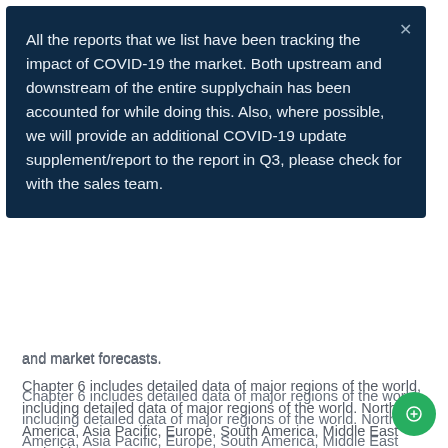All the reports that we list have been tracking the impact of COVID-19 the market. Both upstream and downstream of the entire supplychain has been accounted for while doing this. Also, where possible, we will provide an additional COVID-19 update supplement/report to the report in Q3, please check for with the sales team.
and market forecasts.
Chapter 6 includes detailed data of major regions of the world, including detailed data of major regions of the world. North America, Asia Pacific, Europe, South America, Middle East and Africa.
Chapters 7-26 focus on the regional market. We have selected the most representative 20 countries from 197 countries in the world and conducted a detailed analysis and overview of the market development of these countries.
Chapter 27 focuses on market qualitative analysis, providing market driving factor analysis, market